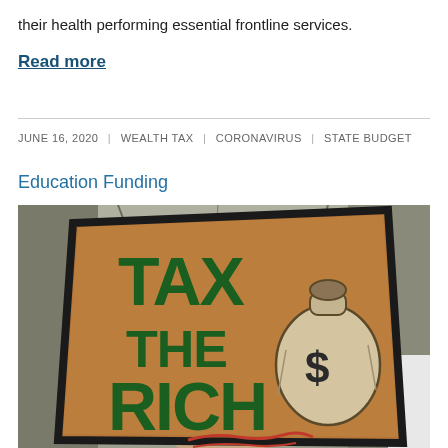their health performing essential frontline services.
Read more
JUNE 16, 2020 | WEALTH TAX | CORONAVIRUS | STATE BUDGET
Education Funding
[Figure (photo): Person holding a brown cardboard protest sign with green letters reading 'TAX THE RICH' and a drawing of a money bag with a dollar sign, held up against a blurred background of bare trees.]